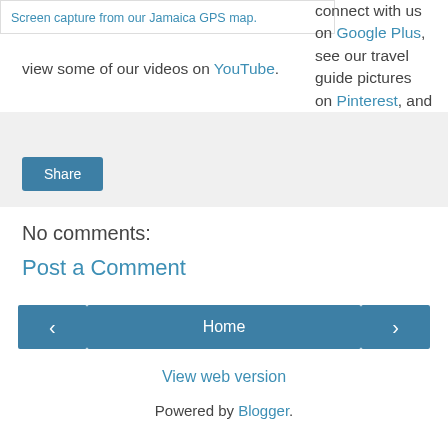Screen capture from our Jamaica GPS map.
connect with us on Google Plus, see our travel guide pictures on Pinterest, and view some of our videos on YouTube.
[Figure (screenshot): Share box with light gray background and a Share button]
No comments:
Post a Comment
[Figure (screenshot): Navigation bar with previous arrow button, Home button, and next arrow button]
View web version
Powered by Blogger.